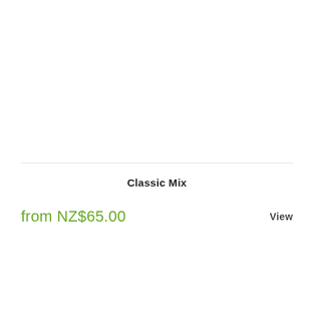Classic Mix
from NZ$65.00
View